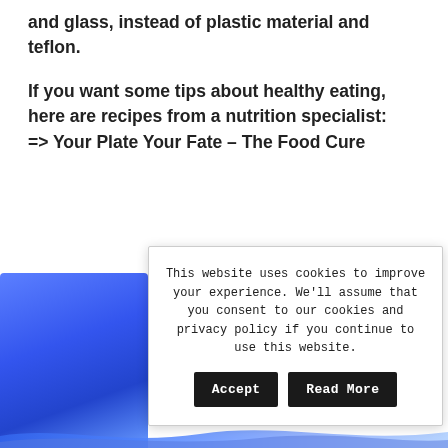and glass, instead of plastic material and teflon.
If you want some tips about healthy eating, here are recipes from a nutrition specialist: => Your Plate Your Fate – The Food Cure
[Figure (photo): Blue gradient background image, partially visible at bottom left corner of page]
This website uses cookies to improve your experience. We'll assume that you consent to our cookies and privacy policy if you continue to use this website. Accept  Read More